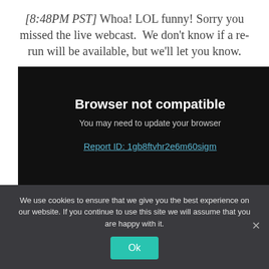[8:48PM PST] Whoa! LOL funny! Sorry you missed the live webcast. We don't know if a re-run will be available, but we'll let you know.
[Figure (screenshot): Black browser error box showing 'Browser not compatible', subtitle 'You may need to update your browser', and a link 'Report ID: 1gb8ftvhr2e6m60sigm']
We use cookies to ensure that we give you the best experience on our website. If you continue to use this site we will assume that you are happy with it. Ok